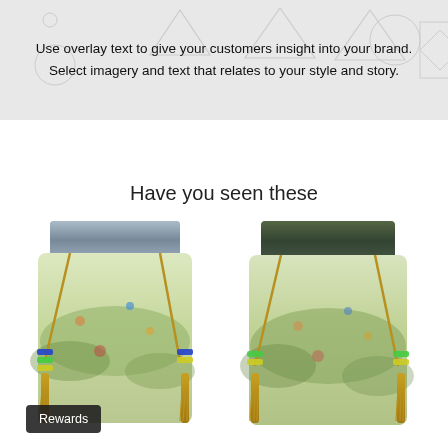[Figure (screenshot): Gray banner placeholder section with geometric triangle/diamond outline shapes in lighter gray. Contains overlay text: 'Use overlay text to give your customers insight into your brand. Select imagery and text that relates to your style and story.']
Use overlay text to give your customers insight into your brand. Select imagery and text that relates to your style and story.
Have you seen these
[Figure (photo): Two decorative drawstring pouches/bags with fairy-tale illustration fabric showing fairies, birds, dragonflies and woodland creatures. Left bag has gray-blue velvet top with gold tassel drawstrings and colorful beads. Right bag has dark green velvet top with gold tassel drawstrings and colorful beads. Both bags feature detailed illustrated scenes.]
Rewards